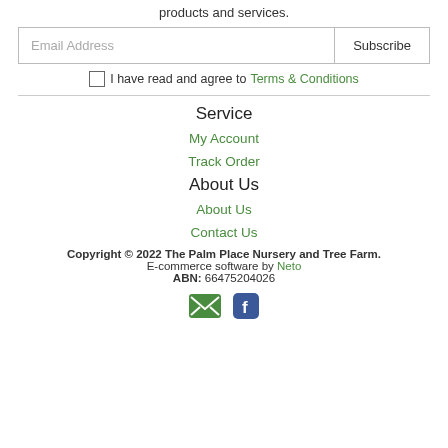products and services.
Email Address  Subscribe
I have read and agree to Terms & Conditions
Service
My Account
Track Order
About Us
About Us
Contact Us
Copyright © 2022 The Palm Place Nursery and Tree Farm. E-commerce software by Neto ABN: 66475204026